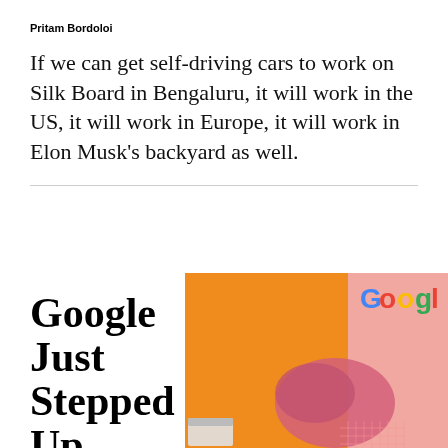Pritam Bordoloi
If we can get self-driving cars to work on Silk Board in Bengaluru, it will work in the US, it will work in Europe, it will work in Elon Musk's backyard as well.
Google Just Stepped Up
[Figure (photo): Colorful collage illustration with orange background, Google logo text, a pink brain-like figure, and a small computer window in the corner with a grid pattern.]